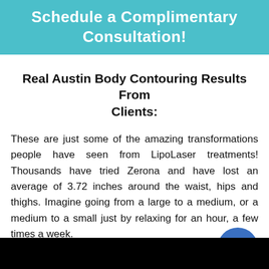Schedule a Complimentary Consultation!
Real Austin Body Contouring Results From Clients:
These are just some of the amazing transformations people have seen from LipoLaser treatments! Thousands have tried Zerona and have lost an average of 3.72 inches around the waist, hips and thighs. Imagine going from a large to a medium, or a medium to a small just by relaxing for an hour, a few times a week.
[Figure (other): Dark/black image area at the bottom of the page]